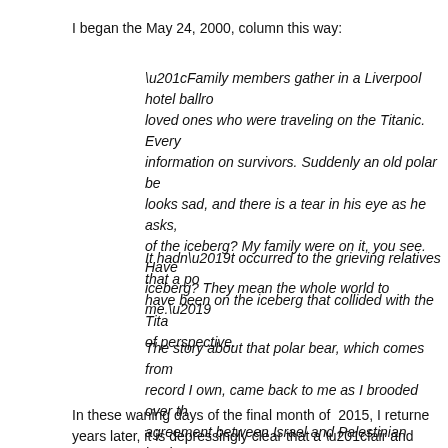I began the May 24, 2000, column this way:
“Family members gather in a Liverpool hotel ballro… loved ones who were traveling on the Titanic. Every… information on survivors. Suddenly an old polar be… looks sad, and there is a tear in his eye as he asks,… of the iceberg? My family were on it, you see. Have… iceberg? They mean the whole world to me.’
It hadn’t occurred to the grieving relatives that a po… have been on the iceberg that collided with the Tita… of perspective.
The story about that polar bear, which comes from… record I own, came back to me as I brooded over th… agreement between Israel and Palestinian leader Yo…
In these waning days of the final month of 2015, I returne… years later, it is depressingly clear that a “fair and just” agr…